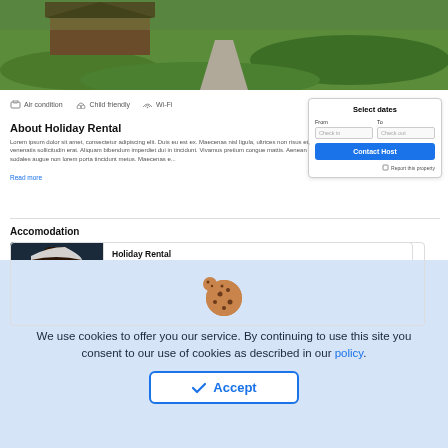[Figure (photo): Aerial/landscape photo showing a wooden cabin with a gravel path through green grass hills]
Air condition   Child friendly   Wi-Fi
About Holiday Rental
Lorem ipsum dolor sit amet, consectetur adipiscing elit. Duis eu est ex. Maecenas nisl ligula, ultrices non risus et, venenatis sollicitudin erat. Aliquam bibendum imperdiet dui in tincidunt. Vivamus pretium congue mattis. Aenean sodales augue non lorem porta tincidunt metus. Maecenas e...
Read more
Accomodation
[Figure (photo): Snow-covered wooden cabin/chalet at night]
Holiday Rental
4 guests   74 m²   2 bedrooms
Air condition   Wi-Fi
See more...
Select dates
From
Check in
To
Check out
Contact Host
Report this property
[Figure (illustration): Cookie icon — a round brown cookie with chocolate chip dots]
We use cookies to offer you our service. By continuing to use this site you consent to our use of cookies as described in our policy.
✓ Accept